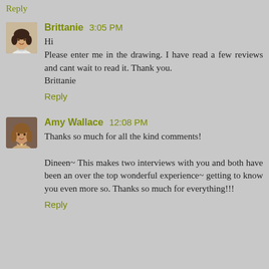Reply
Brittanie 3:05 PM
Hi
Please enter me in the drawing. I have read a few reviews and cant wait to read it. Thank you.
Brittanie
Reply
Amy Wallace 12:08 PM
Thanks so much for all the kind comments!

Dineen~ This makes two interviews with you and both have been an over the top wonderful experience~ getting to know you even more so. Thanks so much for everything!!!
Reply